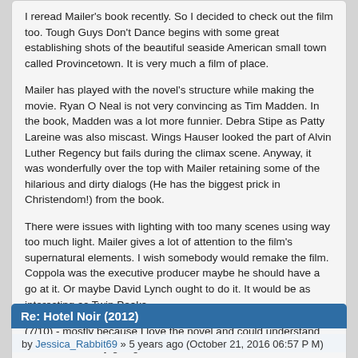I reread Mailer's book recently. So I decided to check out the film too. Tough Guys Don't Dance begins with some great establishing shots of the beautiful seaside American small town called Provincetown. It is very much a film of place.

Mailer has played with the novel's structure while making the movie. Ryan O Neal is not very convincing as Tim Madden. In the book, Madden was a lot more funnier. Debra Stipe as Patty Lareine was also miscast. Wings Hauser looked the part of Alvin Luther Regency but fails during the climax scene. Anyway, it was wonderfully over the top with Mailer retaining some of the hilarious and dirty dialogs (He has the biggest prick in Christendom!) from the book.

There were issues with lighting with too many scenes using way too much light. Mailer gives a lot of attention to the film's supernatural elements. I wish somebody would remake the film. Coppola was the executive producer maybe he should have a go at it. Or maybe David Lynch ought to do it. It would be as interesting as Twin Peaks.

(7/10) - mostly because I love the novel and could understand what was actually going on.
Re: Hotel Noir (2012)
by Jessica_Rabbit69 » 5 years ago (October 21, 2016 06:57 P M)